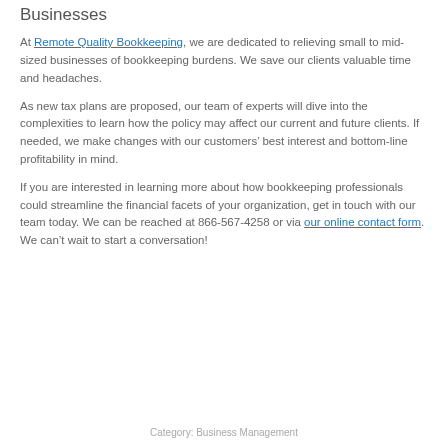Businesses
At Remote Quality Bookkeeping, we are dedicated to relieving small to mid-sized businesses of bookkeeping burdens. We save our clients valuable time and headaches.
As new tax plans are proposed, our team of experts will dive into the complexities to learn how the policy may affect our current and future clients. If needed, we make changes with our customers’ best interest and bottom-line profitability in mind.
If you are interested in learning more about how bookkeeping professionals could streamline the financial facets of your organization, get in touch with our team today. We can be reached at 866-567-4258 or via our online contact form. We can’t wait to start a conversation!
Category: Business Management